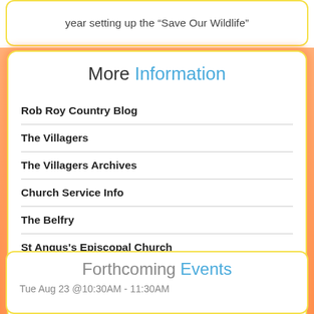year setting up the “Save Our Wildlife”
More Information
Rob Roy Country Blog
The Villagers
The Villagers Archives
Church Service Info
The Belfry
St Angus's Episcopal Church
Forthcoming Events
Tue Aug 23 @10:30AM - 11:30AM